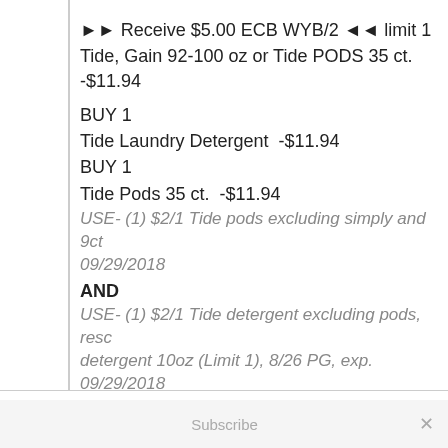►► Receive $5.00 ECB WYB/2 ◄◄ limit 1
Tide, Gain 92-100 oz or Tide PODS 35 ct.  -$11.94
BUY 1
Tide Laundry Detergent  -$11.94
BUY 1
Tide Pods 35 ct.  -$11.94
USE- (1) $2/1 Tide pods excluding simply and 9ct 09/29/2018
AND
USE- (1) $2/1 Tide detergent excluding pods, resc detergent 10oz (Limit 1), 8/26 PG, exp. 09/29/2018
Pay: $19.88
Receive $5.00 ECB
Total= $7.44 each WYB/both